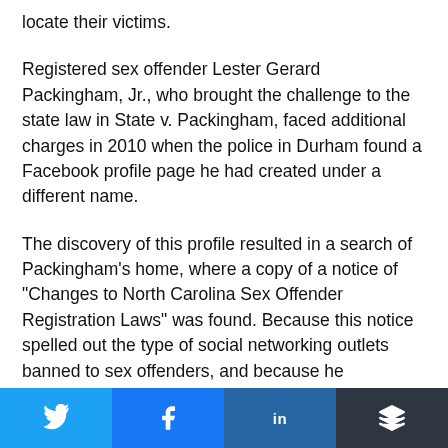locate their victims.
Registered sex offender Lester Gerard Packingham, Jr., who brought the challenge to the state law in State v. Packingham, faced additional charges in 2010 when the police in Durham found a Facebook profile page he had created under a different name.
The discovery of this profile resulted in a search of Packingham’s home, where a copy of a notice of “Changes to North Carolina Sex Offender Registration Laws” was found. Because this notice spelled out the type of social networking outlets banned to sex offenders, and because he
[Figure (other): Social media share bar with Twitter, Facebook, LinkedIn, and More buttons]